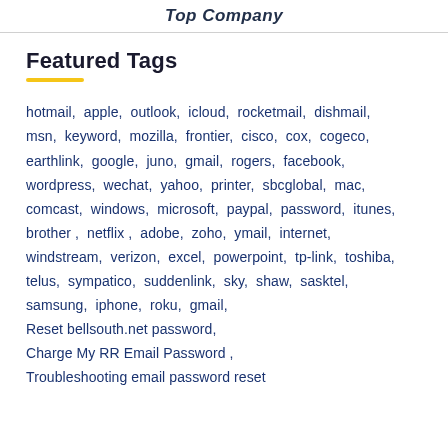Top Company
Featured Tags
hotmail, apple, outlook, icloud, rocketmail, dishmail, msn, keyword, mozilla, frontier, cisco, cox, cogeco, earthlink, google, juno, gmail, rogers, facebook, wordpress, wechat, yahoo, printer, sbcglobal, mac, comcast, windows, microsoft, paypal, password, itunes, brother , netflix , adobe, zoho, ymail, internet, windstream, verizon, excel, powerpoint, tp-link, toshiba, telus, sympatico, suddenlink, sky, shaw, sasktel, samsung, iphone, roku, gmail, Reset bellsouth.net password, Charge My RR Email Password , Troubleshooting email password reset